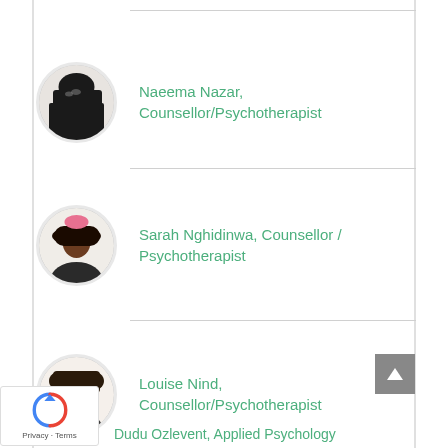[Figure (photo): Circular avatar photo of Naeema Nazar wearing hijab and glasses]
Naeema Nazar, Counsellor/Psychotherapist
[Figure (photo): Circular avatar photo of Sarah Nghidinwa with pink headband]
Sarah Nghidinwa, Counsellor / Psychotherapist
[Figure (photo): Circular avatar photo of Louise Nind, smiling woman with dark hair]
Louise Nind, Counsellor/Psychotherapist
[Figure (photo): Partial circular avatar photo of Dudu Ozlevent]
Dudu Ozlevent, Applied Psychology